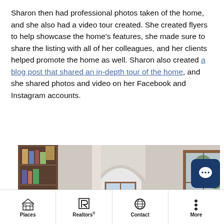Sharon then had professional photos taken of the home, and she also had a video tour created. She created flyers to help showcase the home's features, she made sure to share the listing with all of her colleagues, and her clients helped promote the home as well. Sharon also created a blog post that shared an in-depth tour of the home, and she shared photos and video on her Facebook and Instagram accounts.
[Figure (photo): Interior room of a home showing built-in bookshelves on the left, arched doorways, and wooden-framed windows letting in natural light. Warm neutral wall tones with hardwood accents.]
Places | Realtors® | Contact | More